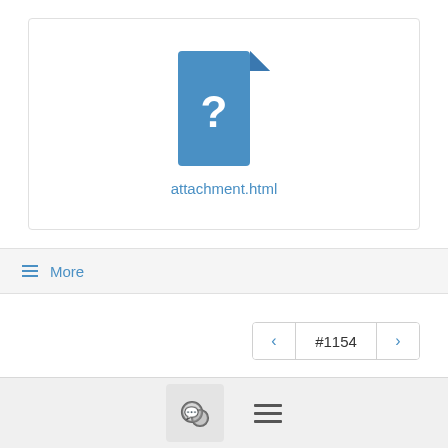[Figure (other): File attachment icon (unknown file type) with a blue document icon showing a question mark, with filename 'attachment.html' below it, inside a bordered box]
attachment.html
≡ More
< #1154 >
Join cf-dev@lists.cloudfoundry.org to automatically receive all group messages.